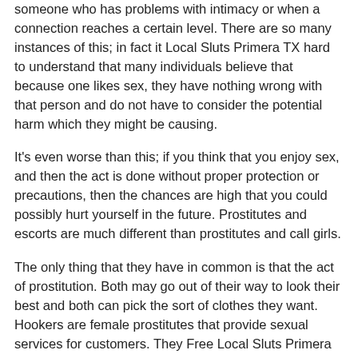someone who has problems with intimacy or when a connection reaches a certain level. There are so many instances of this; in fact it Local Sluts Primera TX hard to understand that many individuals believe that because one likes sex, they have nothing wrong with that person and do not have to consider the potential harm which they might be causing.
It's even worse than this; if you think that you enjoy sex, and then the act is done without proper protection or precautions, then the chances are high that you could possibly hurt yourself in the future. Prostitutes and escorts are much different than prostitutes and call girls.
The only thing that they have in common is that the act of prostitution. Both may go out of their way to look their best and both can pick the sort of clothes they want. Hookers are female prostitutes that provide sexual services for customers. They Free Local Sluts Primera Texas make the payment on the client by giving the customer a sexual act in exchange for money. Male escorts are hired by male clients, and their